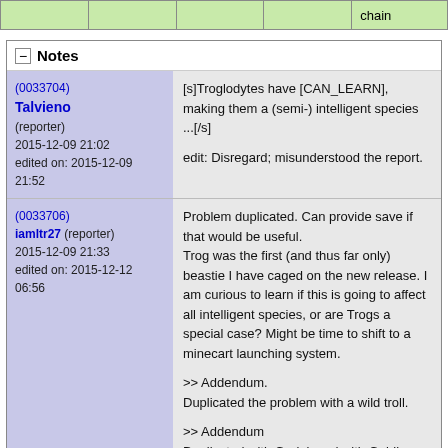|  |  |  |  | chain |
| --- | --- | --- | --- | --- |
|  |
Notes
(0033704)
Talvieno
(reporter)
2015-12-09 21:02
edited on: 2015-12-09 21:52
[s]Troglodytes have [CAN_LEARN], making them a (semi-) intelligent species ...[/s]

edit: Disregard; misunderstood the report.
(0033706)
iamltr27 (reporter)
2015-12-09 21:33
edited on: 2015-12-12 06:56
Problem duplicated. Can provide save if that would be useful.
Trog was the first (and thus far only) beastie I have caged on the new release. I am curious to learn if this is going to affect all intelligent species, or are Trogs a special case? Might be time to shift to a minecart launching system.

>> Addendum.
Duplicated the problem with a wild troll.

>> Addendum
Duplicated with Gorlak and with Goblins.
(0033708)
Hmm. I seem to recall goblins being pittable in